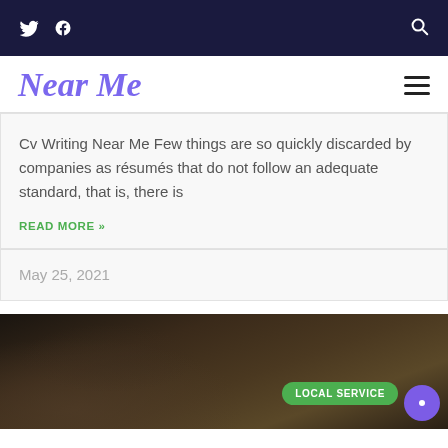Near Me — website header with Twitter, Facebook, and Search icons
Near Me
Cv Writing Near Me Few things are so quickly discarded by companies as résumés that do not follow an adequate standard, that is, there is
READ MORE »
May 25, 2021
[Figure (photo): Dark background image with a hand and tools visible, with a green LOCAL SERVICE button overlay and a purple chat bubble button]